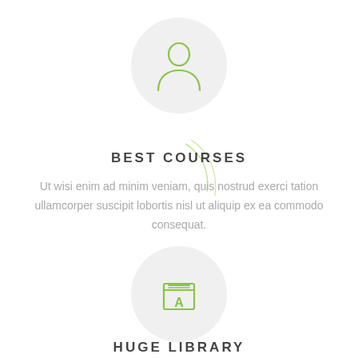[Figure (illustration): Green outline person/student icon on a light gray circle background]
BEST COURSES
Ut wisi enim ad minim veniam, quis nostrud exerci tation ullamcorper suscipit lobortis nisl ut aliquip ex ea commodo consequat.
[Figure (illustration): Green outline dictionary/book with letter A icon on a light gray circle background]
HUGE LIBRARY